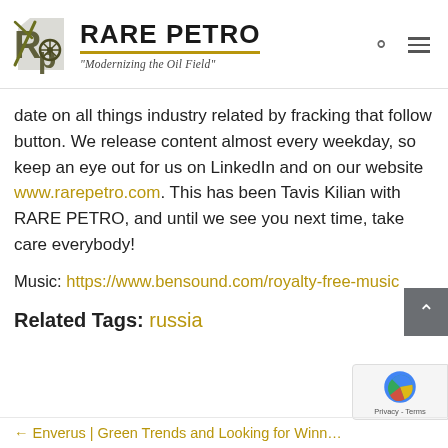[Figure (logo): Rare Petro logo with stylized RP emblem and text 'RARE PETRO' and tagline 'Modernizing the Oil Field']
date on all things industry related by fracking that follow button. We release content almost every weekday, so keep an eye out for us on LinkedIn and on our website www.rarepetro.com. This has been Tavis Kilian with RARE PETRO, and until we see you next time, take care everybody!
Music: https://www.bensound.com/royalty-free-music
Related Tags: russia
← Enverus | Green Trends and Looking for Winn…